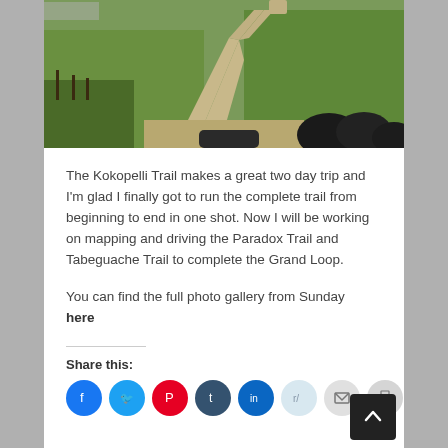[Figure (photo): Dirt trail/road winding through green grassy fields, with round black hay bales visible on the right side in the foreground.]
The Kokopelli Trail makes a great two day trip and I'm glad I finally got to run the complete trail from beginning to end in one shot. Now I will be working on mapping and driving the Paradox Trail and Tabeguache Trail to complete the Grand Loop.
You can find the full photo gallery from Sunday here
Share this:
[Figure (infographic): Row of social sharing icon buttons: Facebook (blue), Twitter (cyan), Pinterest (red), Tumblr (dark blue), LinkedIn (blue), Reddit (light blue), Email (gray), Print (gray).]